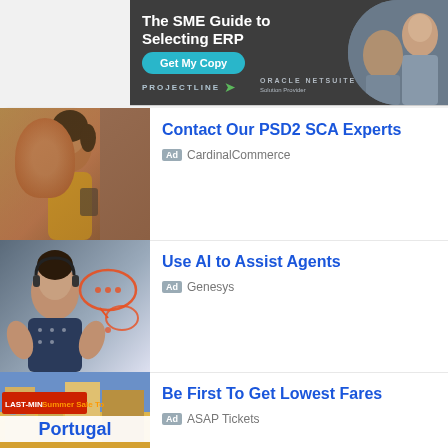[Figure (screenshot): Banner advertisement for ProjectLine Oracle NetSuite ERP guide. Dark background with text 'The SME Guide to Selecting ERP', 'Get My Copy' button, ProjectLine and Oracle NetSuite logos, and photo of two business people.]
[Figure (photo): Thumbnail photo of smiling woman with curly hair in yellow top holding a phone, cafe background.]
Contact Our PSD2 SCA Experts
Ad  CardinalCommerce
[Figure (photo): Thumbnail photo of woman wearing headset with chat bubble graphics overlay, representing AI agent assist.]
Use AI to Assist Agents
Ad  Genesys
[Figure (screenshot): Thumbnail ad image showing 'LAST-MIN Summer Sale To Portugal' with colorful street scene background. Blue text 'Portugal' on white banner. Footer text: 'Book Now, Pay Later' and '24/7 Live travel agents'.]
Be First To Get Lowest Fares
Ad  ASAP Tickets